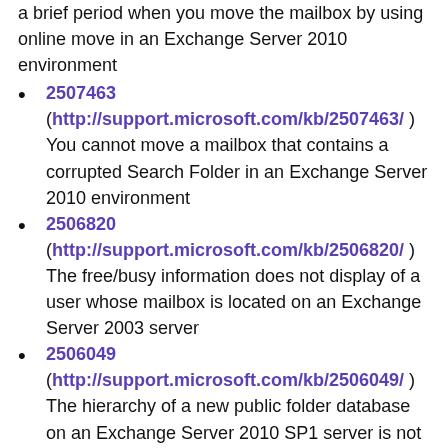a brief period when you move the mailbox by using online move in an Exchange Server 2010 environment
2507463 (http://support.microsoft.com/kb/2507463/ ) You cannot move a mailbox that contains a corrupted Search Folder in an Exchange Server 2010 environment
2506820 (http://support.microsoft.com/kb/2506820/ ) The free/busy information does not display of a user whose mailbox is located on an Exchange Server 2003 server
2506049 (http://support.microsoft.com/kb/2506049/ ) The hierarchy of a new public folder database on an Exchange Server 2010 SP1 server is not replicated
2505968